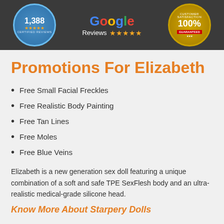[Figure (infographic): Header banner with dark background containing three badges: a blue certified reviews badge showing 1,388 reviews with 5 stars, a Google Reviews badge with colorful Google logo and 5 stars, and a gold 100% Guaranteed satisfaction badge.]
Promotions For Elizabeth
Free Small Facial Freckles
Free Realistic Body Painting
Free Tan Lines
Free Moles
Free Blue Veins
Elizabeth is a new generation sex doll featuring a unique combination of a soft and safe TPE SexFlesh body and an ultra-realistic medical-grade silicone head.
Know More About Starpery Dolls